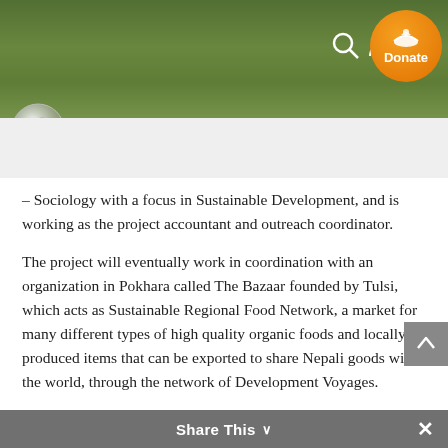Institute of Ecotechnics
– Sociology with a focus in Sustainable Development, and is working as the project accountant and outreach coordinator.
The project will eventually work in coordination with an organization in Pokhara called The Bazaar founded by Tulsi, which acts as Sustainable Regional Food Network, a market for many different types of high quality organic foods and locally produced items that can be exported to share Nepali goods with the world, through the network of Development Voyages.
Tulsi's business mentor/partner, Patrick Honauer, is a social entrepreneur, from Switzerland. Involved in this field since 1993, when he started his first company. He is the founder and co-founder of: Neuhof Bachs, which is the fi Share This staurant in Switzerland,
Share This